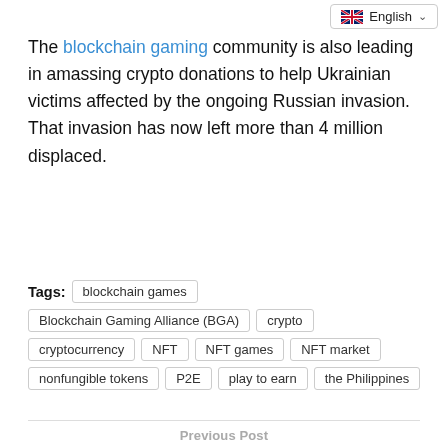The blockchain gaming community is also leading in amassing crypto donations to help Ukrainian victims affected by the ongoing Russian invasion. That invasion has now left more than 4 million displaced.
Tags: blockchain games | Blockchain Gaming Alliance (BGA) | crypto | cryptocurrency | NFT | NFT games | NFT market | nonfungible tokens | P2E | play to earn | the Philippines
Previous Post
Robotics Startup Pubinno Taps Bitcoin To Deliver Automated Beer
Next Post